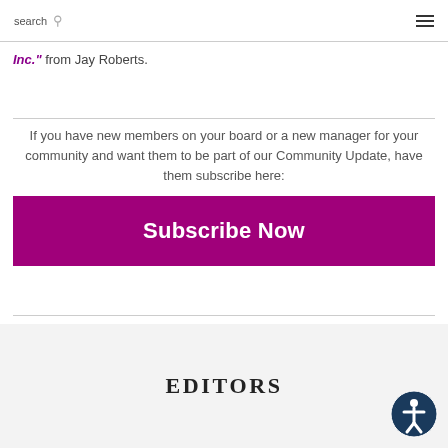search ≡
Inc." from Jay Roberts.
If you have new members on your board or a new manager for your community and want them to be part of our Community Update, have them subscribe here:
[Figure (other): Purple 'Subscribe Now' button]
EDITORS